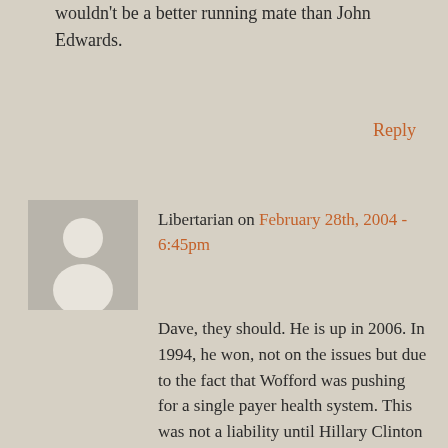wouldn't be a better running mate than John Edwards.
Reply
[Figure (illustration): Generic user avatar placeholder - gray square with white silhouette of a person]
Libertarian on February 28th, 2004 - 6:45pm
Dave, they should. He is up in 2006. In 1994, he won, not on the issues but due to the fact that Wofford was pushing for a single payer health system. This was not a liability until Hillary Clinton took this up. Satanorum won against tax raises and Hillary care to win the suburbs now concerned about their pocket books once again. In 1992, that meant removing Bush Sr.